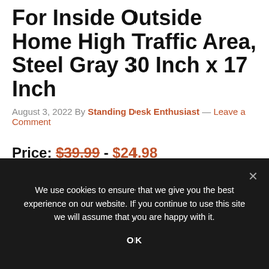For Inside Outside Home High Traffic Area, Steel Gray 30 Inch x 17 Inch
August 3, 2022 By Standing Desk Enthusiast — Leave a Comment
Price: $39.99 - $24.98
(as of Aug 25,2022 07:11:28 UTC – Details)
We use cookies to ensure that we give you the best experience on our website. If you continue to use this site we will assume that you are happy with it. OK